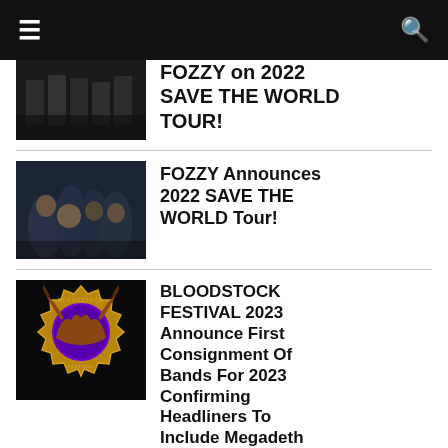Navigation bar with menu and search icons
FOZZY on 2022 SAVE THE WORLD TOUR!
[Figure (photo): Dark photo of band members standing together]
FOZZY Announces 2022 SAVE THE WORLD Tour!
[Figure (photo): Band photo of FOZZY members posing against dark background]
BLOODSTOCK FESTIVAL 2023 Announce First Consignment Of Bands For 2023 Confirming Headliners To Include Megadeth & Killswitch
[Figure (logo): Bloodstock Festival logo with bull skull and ornate design on dark background]